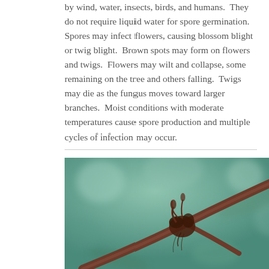by wind, water, insects, birds, and humans.  They do not require liquid water for spore germination.  Spores may infect flowers, causing blossom blight or twig blight.  Brown spots may form on flowers and twigs.  Flowers may wilt and collapse, some remaining on the tree and others falling.  Twigs may die as the fungus moves toward larger branches.  Moist conditions with moderate temperatures cause spore production and multiple cycles of infection may occur.
[Figure (photo): Close-up photograph of a plant twig with a blighted blossom cluster attached, showing brown fungal damage on the stem, with a blurred green background.]
[Figure (photo): Dark background photograph showing twig blight symptoms with pale/yellow discoloration on twigs against a black background.]